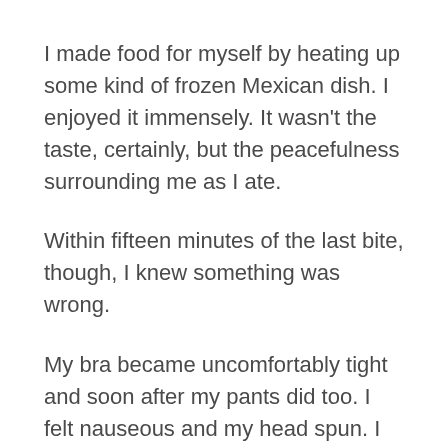I made food for myself by heating up some kind of frozen Mexican dish. I enjoyed it immensely. It wasn't the taste, certainly, but the peacefulness surrounding me as I ate.
Within fifteen minutes of the last bite, though, I knew something was wrong.
My bra became uncomfortably tight and soon after my pants did too. I felt nauseous and my head spun. I ran into the bathroom and before rushing to the toilet, I instinctively grabbed the garbage can from under the sink. I needed both for the collection of what began swiftly and simultaneously. I'd never been sicker and barely